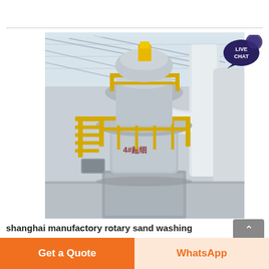[Figure (photo): Industrial rotary sand washing machine in a large factory building. A large vertical mill/classifier machine painted grey with yellow safety railings and platforms, connected to large white ductwork pipes. Chinese text on the machine reads '4#超细'. Factory has steel roof trusses visible.]
[Figure (illustration): LIVE CHAT button: teal/dark blue speech bubble icon with text LIVE CHAT in white]
shanghai manufactory rotary sand washing machine
[Figure (other): Scroll to top button: grey rounded rectangle with upward chevron arrow and 'Top' label]
Get a Quote
WhatsApp